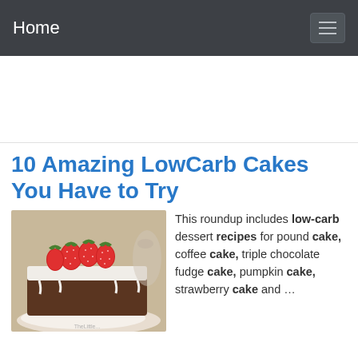Home
10 Amazing LowCarb Cakes You Have to Try
[Figure (photo): A slice of chocolate cake with white frosting and fresh strawberries on top, served on a white plate.]
This roundup includes low-carb dessert recipes for pound cake, coffee cake, triple chocolate fudge cake, pumpkin cake, strawberry cake and …